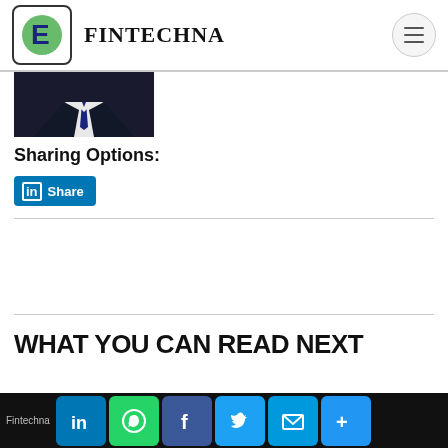FINTECHNA
[Figure (photo): Partial photo of a person in a dark suit with a tie, cropped at the shoulders]
Sharing Options:
[Figure (other): LinkedIn Share button in blue]
WHAT YOU CAN READ NEXT
Fintechna – social sharing buttons: LinkedIn, WhatsApp, Facebook, Twitter, Email, More